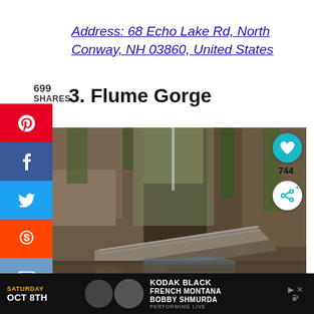Address: 68 Echo Lake Rd, North Conway, NH 03860, United States
699
SHARES
3. Flume Gorge
[Figure (photo): Photo of Flume Gorge showing a narrow rocky canyon with moss-covered walls, a wooden boardwalk trail running through it, and a stream flowing below. Green moss covers the tall stone walls.]
[Figure (infographic): Advertisement banner for a concert featuring Kodak Black, French Montana, Bobby Shmurda on Saturday Oct 8th.]